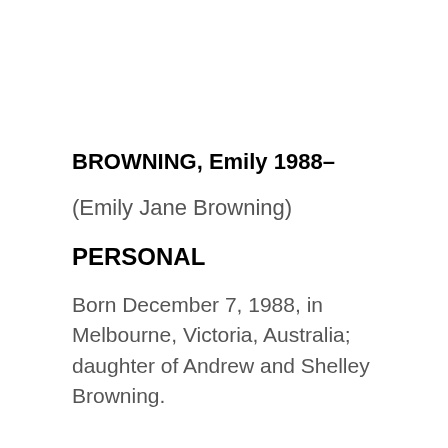BROWNING, Emily 1988–
(Emily Jane Browning)
PERSONAL
Born December 7, 1988, in Melbourne, Victoria, Australia; daughter of Andrew and Shelley Browning.